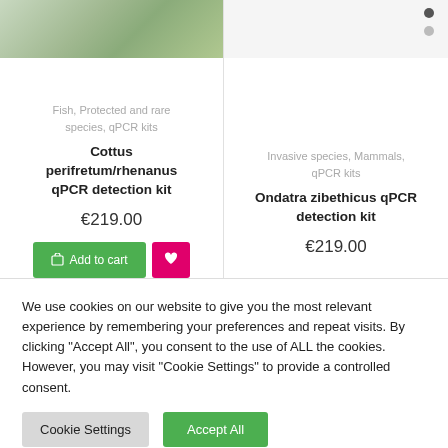[Figure (photo): Cropped top portion of a fish photo for Cottus perifretum/rhenanus product]
Fish, Protected and rare species, qPCR kits
Cottus perifretum/rhenanus qPCR detection kit
€219.00
[Figure (other): Dot navigation indicators (dark and light circles) for right product image carousel]
Invasive species, Mammals, qPCR kits
Ondatra zibethicus qPCR detection kit
€219.00
We use cookies on our website to give you the most relevant experience by remembering your preferences and repeat visits. By clicking "Accept All", you consent to the use of ALL the cookies. However, you may visit "Cookie Settings" to provide a controlled consent.